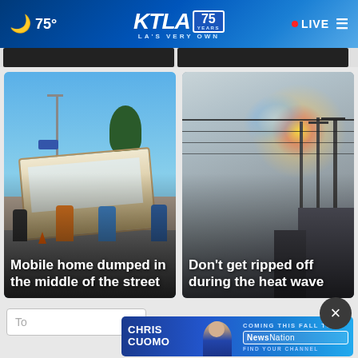🌙 75° | KTLA 75 YEARS — LA'S VERY OWN | LIVE
[Figure (photo): News card: Mobile home dumped in the middle of the street — photo of overturned mobile home on street with people watching]
[Figure (photo): News card: Don't get ripped off during the heat wave — photo of power lines against hazy sky with rainbow lens flare]
To
[Figure (photo): Advertisement banner: Chris Cuomo — Coming this fall to NewsNation. Find your channel.]